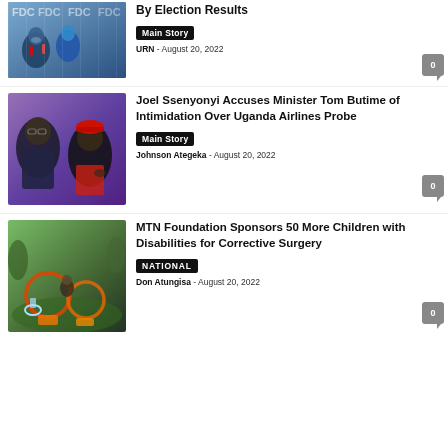[Figure (photo): People at an FDC (Forum for Democratic Change) press conference, with FDC logos visible in background]
By Election Results
Main Story
URN - August 20, 2022
[Figure (photo): Two men: one older man in suit and glasses, one younger man in red beret and black jacket]
Joel Ssenyonyi Accuses Minister Tom Butime of Intimidation Over Uganda Airlines Probe
Main Story
Johnson Ategeka - August 20, 2022
[Figure (photo): Children with disabilities on playground equipment, one in a wheelchair, in a green outdoor setting]
MTN Foundation Sponsors 50 More Children with Disabilities for Corrective Surgery
NATIONAL
Don Atungisa - August 20, 2022